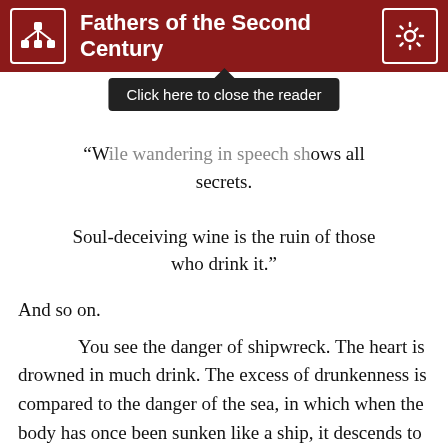Fathers of the Second Century
[Figure (screenshot): Tooltip overlay reading 'Click here to close the reader' with dark background, positioned below the header bar with an upward-pointing arrow]
“Wile wandering in speech shows all secrets.

Soul-deceiving wine is the ruin of those who drink it.”
And so on.
You see the danger of shipwreck. The heart is drowned in much drink. The excess of drunkenness is compared to the danger of the sea, in which when the body has once been sunken like a ship, it descends to the depths of turpitude, overwhelmed in the mighty billows of wine; and the helmsman, the human mind, is tossed about on the surge of